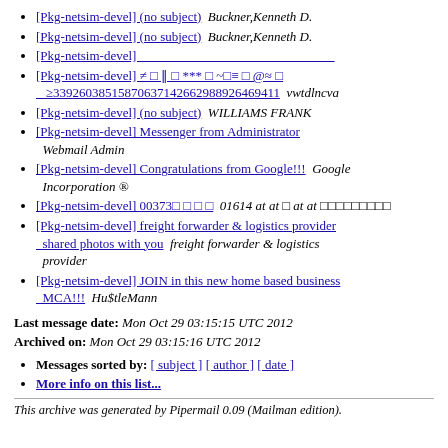[Pkg-netsim-devel] (no subject)  Buckner,Kenneth D.
[Pkg-netsim-devel] (no subject)  Buckner,Kenneth D.
[Pkg-netsim-devel]
[Pkg-netsim-devel] ≠ □ ‖ □ *** □ ~□≡ □ @≈ □ ≥33926038515870637142662988926469411  vwtdlncva
[Pkg-netsim-devel] (no subject)  WILLIAMS FRANK
[Pkg-netsim-devel] Messenger from Administrator  Webmail Admin
[Pkg-netsim-devel] Congratulations from Google!!!  Google Incorporation ®
[Pkg-netsim-devel] 00373□ □ □ □  01614 at at □ at at □□□□□□□□□
[Pkg-netsim-devel] freight forwarder & logistics provider shared photos with you  freight forwarder & logistics provider
[Pkg-netsim-devel] JOIN in this new home based business MCA!!!  Hu$tleMann
Last message date: Mon Oct 29 03:15:15 UTC 2012
Archived on: Mon Oct 29 03:15:16 UTC 2012
Messages sorted by: [ subject ] [ author ] [ date ]
More info on this list...
This archive was generated by Pipermail 0.09 (Mailman edition).